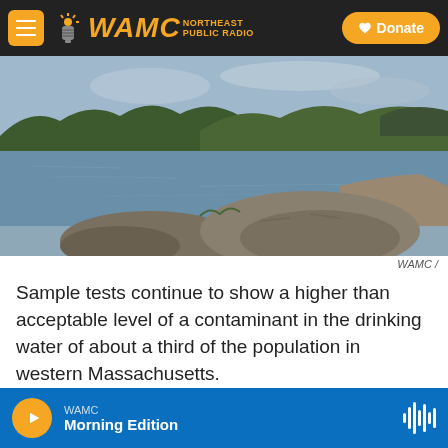WAMC Northeast Public Radio | Donate
[Figure (photo): A scenic reservoir or river viewed from the rocky shoreline, with tree-covered hills in the background under a cloudy sky.]
WAMC /
Sample tests continue to show a higher than acceptable level of a contaminant in the drinking water of about a third of the population in western Massachusetts.
The Springfield Water and Sewer Commission has...
WAMC Morning Edition